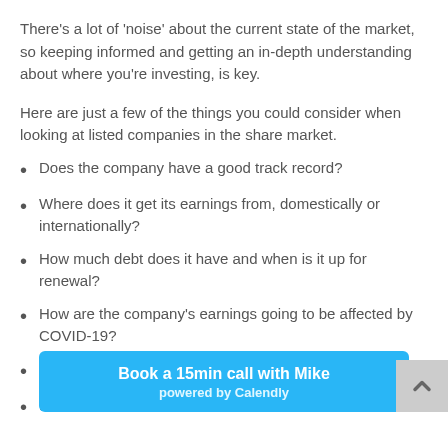There's a lot of 'noise' about the current state of the market, so keeping informed and getting an in-depth understanding about where you're investing, is key.
Here are just a few of the things you could consider when looking at listed companies in the share market.
Does the company have a good track record?
Where does it get its earnings from, domestically or internationally?
How much debt does it have and when is it up for renewal?
How are the company's earnings going to be affected by COVID-19?
Does the business have a strong competitive advantage
Does it ha